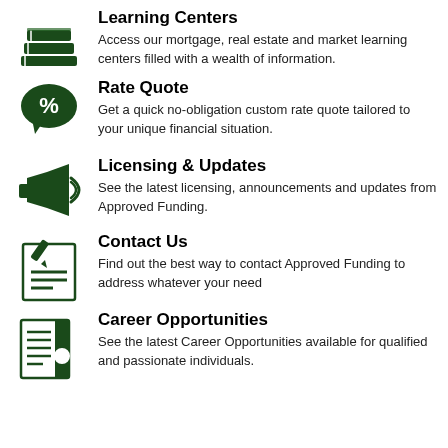[Figure (illustration): Stack of books icon in dark green]
Learning Centers
Access our mortgage, real estate and market learning centers filled with a wealth of information.
[Figure (illustration): Speech bubble with percent sign icon in dark green]
Rate Quote
Get a quick no-obligation custom rate quote tailored to your unique financial situation.
[Figure (illustration): Megaphone/bullhorn with sound waves icon in dark green]
Licensing & Updates
See the latest licensing, announcements and updates from Approved Funding.
[Figure (illustration): Document with pen/pencil icon in dark green]
Contact Us
Find out the best way to contact Approved Funding to address whatever your need
[Figure (illustration): Newspaper/document with text columns icon in dark green]
Career Opportunities
See the latest Career Opportunities available for qualified and passionate individuals.